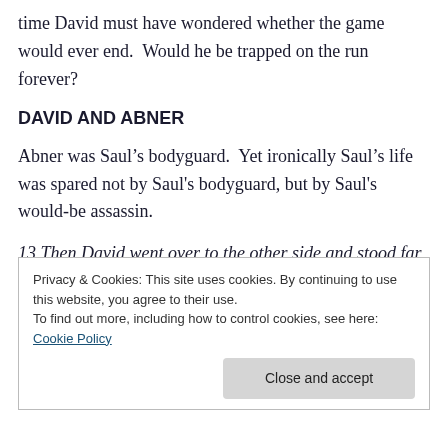time David must have wondered whether the game would ever end.  Would he be trapped on the run forever?
DAVID AND ABNER
Abner was Saul’s bodyguard.  Yet ironically Saul’s life was spared not by Saul's bodyguard, but by Saul's would-be assassin.
13 Then David went over to the other side and stood far off on the top of the hill, with a great space between them. 14 And David called to the army, and to Abner the
Privacy & Cookies: This site uses cookies. By continuing to use this website, you agree to their use.
To find out more, including how to control cookies, see here: Cookie Policy
Close and accept